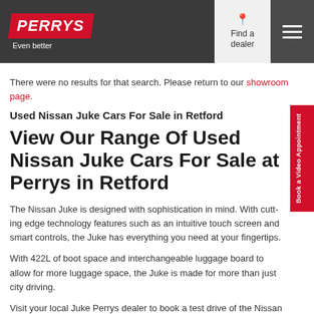Perrys - Even better | Find a dealer | Menu
There were no results for that search. Please return to our showroom page.
Used Nissan Juke Cars For Sale in Retford
View Our Range Of Used Nissan Juke Cars For Sale at Perrys in Retford
The Nissan Juke is designed with sophistication in mind. With cutting edge technology features such as an intuitive touch screen and smart controls, the Juke has everything you need at your fingertips.
With 422L of boot space and interchangeable luggage board to allow for more luggage space, the Juke is made for more than just city driving.
Visit your local Juke Perrys dealer to book a test drive of the Nissan Juke today and discuss finance options available to you.